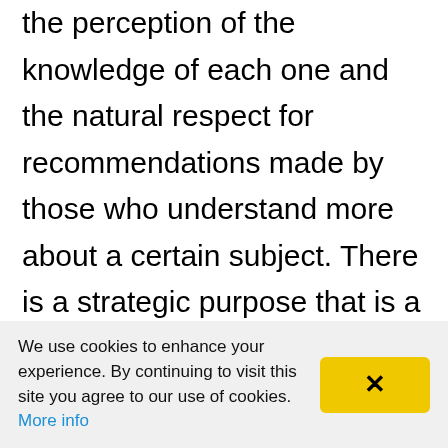the perception of the knowledge of each one and the natural respect for recommendations made by those who understand more about a certain subject. There is a strategic purpose that is a guide to principles, values and work. The current moment is unique and requires a lot of attention, creativity and wisdom in decision-making, conflict management and addressing unprecedented issues. Some of the thoughts that influence our daily routine are zero tolerance with ethical issues, initiatives that take into account social inclusion, and part of the income to be earmarked for social
We use cookies to enhance your experience. By continuing to visit this site you agree to our use of cookies. More info